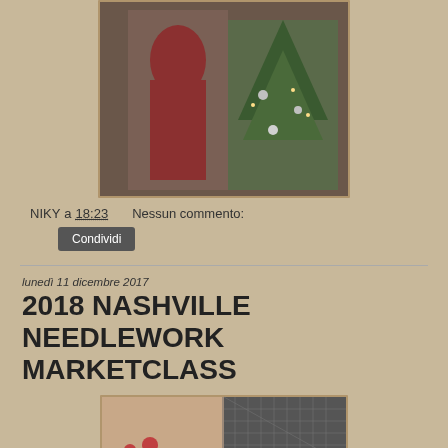[Figure (photo): Woman in red dress standing next to a decorated Christmas tree indoors]
NIKY a 18:23   Nessun commento:
Condividi
lunedì 11 dicembre 2017
2018 NASHVILLE NEEDLEWORK MARKETCLASS
[Figure (photo): Two needlework or craft items side by side]